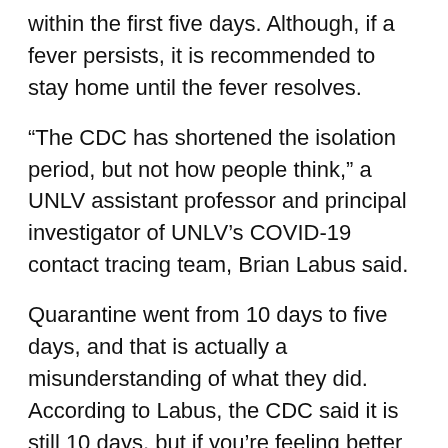within the first five days. Although, if a fever persists, it is recommended to stay home until the fever resolves.
“The CDC has shortened the isolation period, but not how people think,” a UNLV assistant professor and principal investigator of UNLV’s COVID-19 contact tracing team, Brian Labus said.
Quarantine went from 10 days to five days, and that is actually a misunderstanding of what they did. According to Labus, the CDC said it is still 10 days, but if you’re feeling better at day five and your fever has been gone for 24 hours and your symptoms are better, than the risk of you spreading the disease goes way down.
Those who meet the criteria can leave isolation after those five days, but Labus mentions that they still need to wear a mask when they are around other people for that entire 10